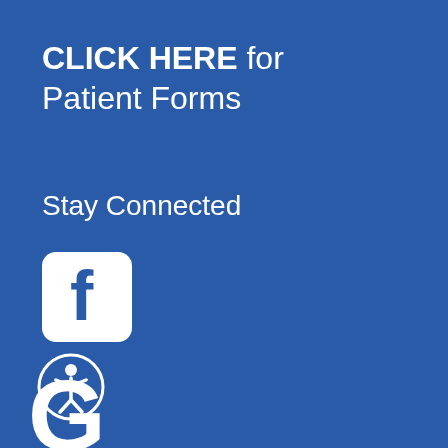CLICK HERE for Patient Forms
Stay Connected
[Figure (logo): Facebook logo icon — white rounded square with Facebook 'f' symbol]
[Figure (logo): Google 'G' logo icon in white]
Review Us On Google
[Figure (illustration): Accessibility icon — person in circle outline]